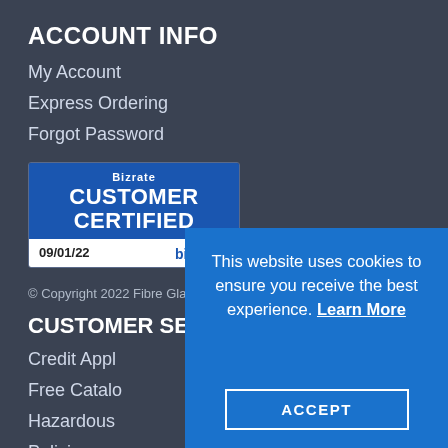ACCOUNT INFO
My Account
Express Ordering
Forgot Password
[Figure (logo): Bizrate Customer Certified badge dated 09/01/22]
© Copyright 2022 Fibre Glast Developments Corp.
CUSTOMER SERVICE
Credit Appl...
Free Catalo...
Hazardous ...
Policies an...
Printable C...
Printable Order Form
This website uses cookies to ensure you receive the best experience. Learn More
ACCEPT